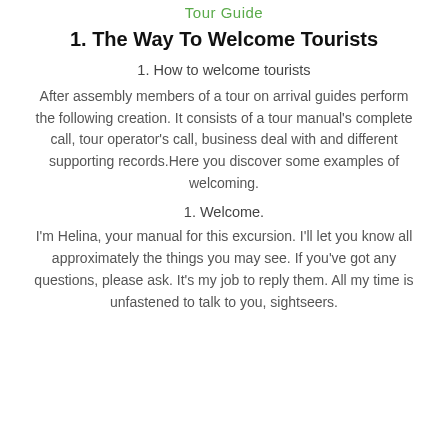Tour Guide
1. The Way To Welcome Tourists
1. How to welcome tourists
After assembly members of a tour on arrival guides perform the following creation. It consists of a tour manual's complete call, tour operator's call, business deal with and different supporting records.Here you discover some examples of welcoming.
1. Welcome.
I'm Helina, your manual for this excursion. I'll let you know all approximately the things you may see. If you've got any questions, please ask. It's my job to reply them. All my time is unfastened to talk to you, sightseers.